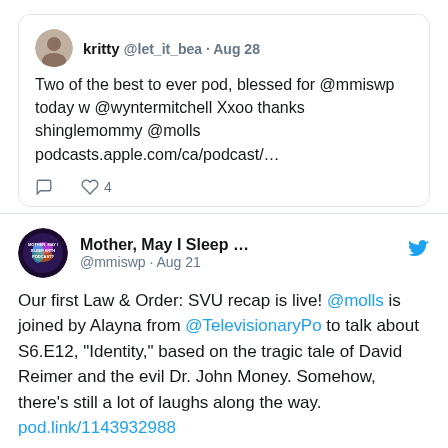[Figure (screenshot): Tweet from @let_it_bea (kritty) dated Aug 28: 'Two of the best to ever pod, blessed for @mmiswp today w @wyntermitchell Xxoo thanks shinglemommy @molls podcasts.apple.com/ca/podcast/...' with comment and 4 likes icons.]
[Figure (screenshot): Tweet from @mmiswp (Mother, May I Sleep ...) dated Aug 21: 'Our first Law & Order: SVU recap is live! @molls is joined by Alayna from @TelevisionaryPo to talk about S6.E12, "Identity," based on the tragic tale of David Reimer and the evil Dr. John Money. Somehow, there's still a lot of laughs along the way. pod.link/1143932988']